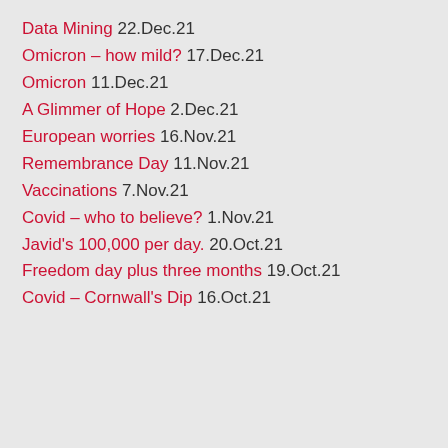Data Mining 22.Dec.21
Omicron – how mild? 17.Dec.21
Omicron 11.Dec.21
A Glimmer of Hope 2.Dec.21
European worries 16.Nov.21
Remembrance Day 11.Nov.21
Vaccinations 7.Nov.21
Covid – who to believe? 1.Nov.21
Javid's 100,000 per day. 20.Oct.21
Freedom day plus three months 19.Oct.21
Covid – Cornwall's Dip 16.Oct.21